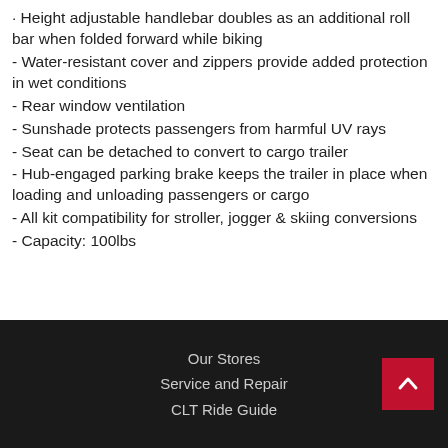· Height adjustable handlebar doubles as an additional roll bar when folded forward while biking
- Water-resistant cover and zippers provide added protection in wet conditions
- Rear window ventilation
- Sunshade protects passengers from harmful UV rays
- Seat can be detached to convert to cargo trailer
- Hub-engaged parking brake keeps the trailer in place when loading and unloading passengers or cargo
- All kit compatibility for stroller, jogger & skiing conversions
- Capacity: 100lbs
Our Stores
Service and Repair
CLT Ride Guide